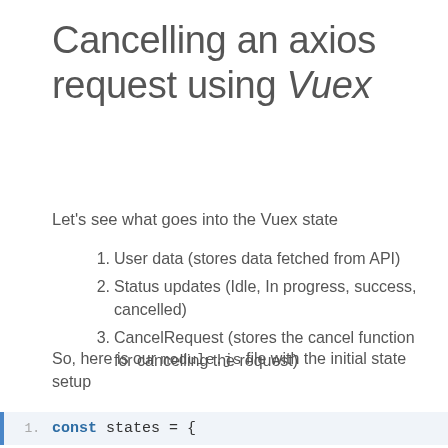Cancelling an axios request using Vuex
Let's see what goes into the Vuex state
User data (stores data fetched from API)
Status updates (Idle, In progress, success, cancelled)
CancelRequest (stores the cancel function for cancelling the request)
So, here is our module.js file with the initial state setup
const states = {